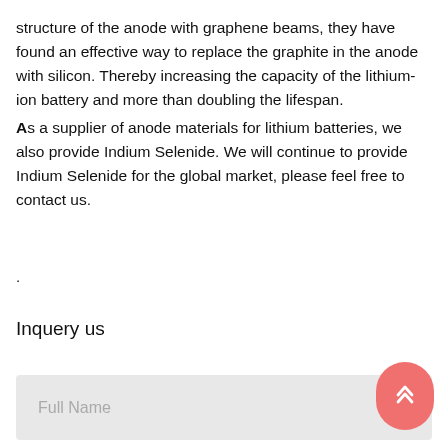structure of the anode with graphene beams, they have found an effective way to replace the graphite in the anode with silicon. Thereby increasing the capacity of the lithium-ion battery and more than doubling the lifespan. As a supplier of anode materials for lithium batteries, we also provide Indium Selenide. We will continue to provide Indium Selenide for the global market, please feel free to contact us.
.
Inquery us
Full Name